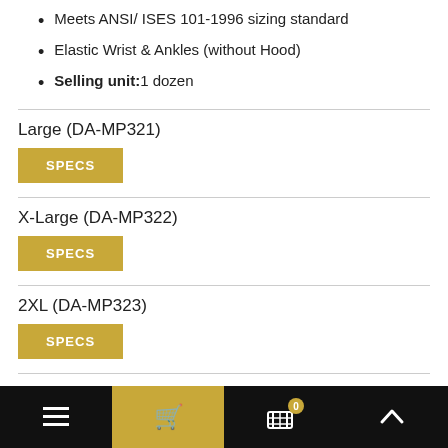Meets ANSI/ ISES 101-1996 sizing standard
Elastic Wrist & Ankles (without Hood)
Selling unit: 1 dozen
Large (DA-MP321)
SPECS
X-Large (DA-MP322)
SPECS
2XL (DA-MP323)
SPECS
3XL (DA-MP324)
SPECS